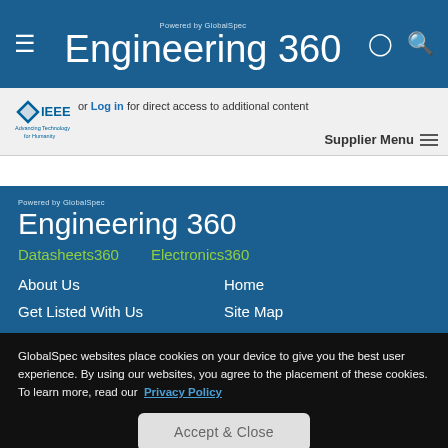Engineering 360 - Powered by GlobalSpec
Register or Log in for direct access to additional content
Supplier Menu
[Figure (logo): IEEE Advancing Technology for Humanity logo]
[Figure (logo): Engineering 360 powered by GlobalSpec logo]
Datasheets360    Electronics360
About Us    Home    Get Listed With Us    Site Map
GlobalSpec websites place cookies on your device to give you the best user experience. By using our websites, you agree to the placement of these cookies. To learn more, read our Privacy Policy
Accept & Close